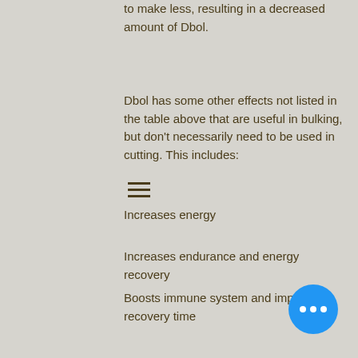to make less, resulting in a decreased amount of Dbol.
Dbol has some other effects not listed in the table above that are useful in bulking, but don't necessarily need to be used in cutting. This includes:
Increases energy
Increases endurance and energy recovery
Boosts immune system and improves recovery time
Amino Acids used in Dbol tend to be in a high concentration, which is often used as part of a combination. For example: A good source of protein is L-Leucine, a precursor to both anabolic and catabolic muscle protein synthesis. When mixed with creatine, Amino Acids will have a positive effect on a...